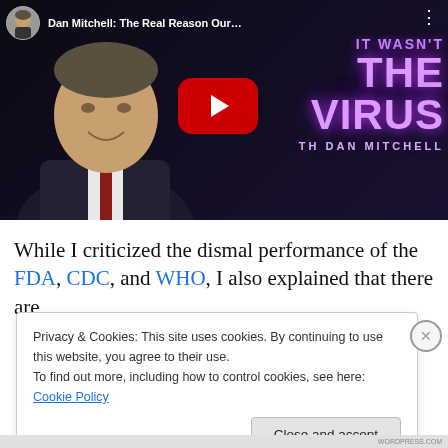[Figure (screenshot): YouTube video thumbnail showing Dan Mitchell with text 'IT WASN'T THE VIRUS' with YouTube play button. Channel avatar and title 'Dan Mitchell: The Real Reason Our...' visible at top.]
While I criticized the dismal performance of the FDA, CDC, and WHO, I also explained that there are
Privacy & Cookies: This site uses cookies. By continuing to use this website, you agree to their use.
To find out more, including how to control cookies, see here: Cookie Policy
Close and accept